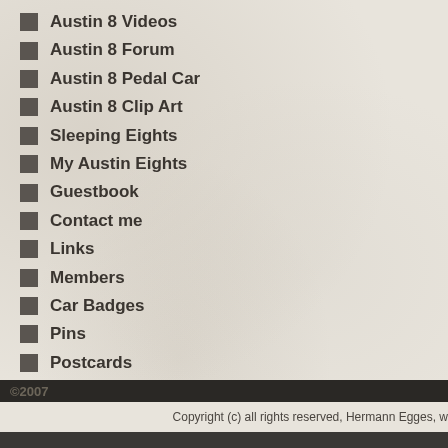Austin 8 Videos
Austin 8 Forum
Austin 8 Pedal Car
Austin 8 Clip Art
Sleeping Eights
My Austin Eights
Guestbook
Contact me
Links
Members
Car Badges
Pins
Postcards
Key rings
Manuals and Books
Copyright (c) all rights reserved, Hermann Egges, w